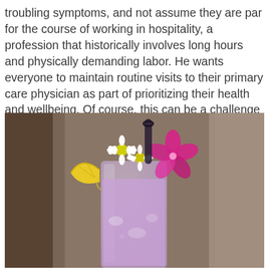troubling symptoms, and not assume they are par for the course of working in hospitality, a profession that historically involves long hours and physically demanding labor. He wants everyone to maintain routine visits to their primary care physician as part of prioritizing their health and wellbeing. Of course, this can be a challenge as hospitality workers are part of the nearly 50% in Texas who are uninsured.
[Figure (photo): A cocktail drink in a tall glass garnished with a lemon wedge, white daisy flowers, pink tropical flowers, and a dark straw, with a blurred restaurant background.]